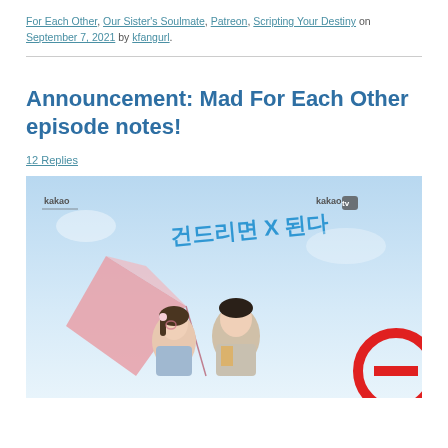For Each Other, Our Sister's Soulmate, Patreon, Scripting Your Destiny on September 7, 2021 by kfangurl.
Announcement: Mad For Each Other episode notes!
12 Replies
[Figure (photo): Promotional poster for Mad For Each Other (Korean drama) on Kakao TV, showing two actors with Korean title text and Kakao/Kakao TV logos]